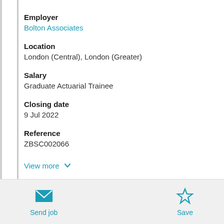Employer
Bolton Associates
Location
London (Central), London (Greater)
Salary
Graduate Actuarial Trainee
Closing date
9 Jul 2022
Reference
ZBSC002066
View more
Send job
Save